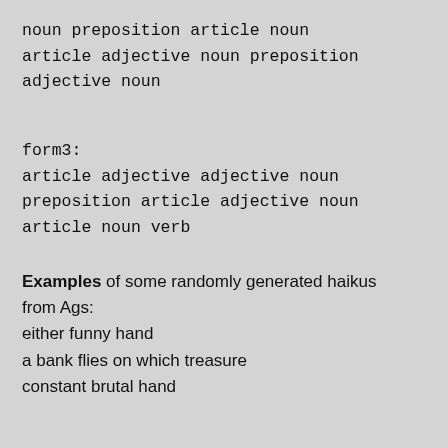noun preposition article noun article adjective noun preposition adjective noun
form3:
article adjective adjective noun preposition article adjective noun article noun verb
Examples of some randomly generated haikus from Ags:
either funny hand
a bank flies on which treasure
constant brutal hand